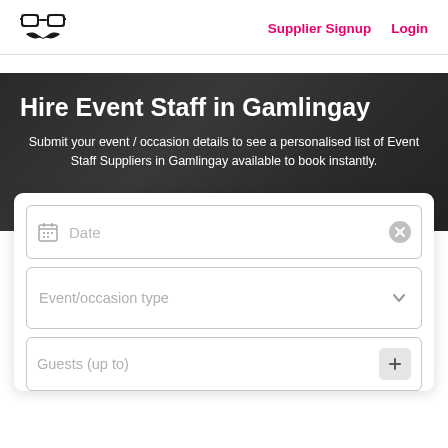Supplier Signup  Login
Hire Event Staff in Gamlingay
Submit your event / occasion details to see a personalised list of Event Staff Suppliers in Gamlingay available to book instantly.
[Figure (screenshot): Web form with fields: Date (with calendar icon and clear button), Event/occasion type (dropdown), Guests (up to) with plus button]
Date
Event/occasion type
Guests (up to)